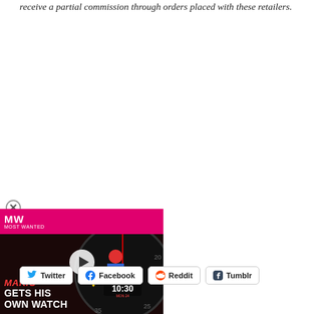receive a partial commission through orders placed with these retailers.
[Figure (screenshot): Video thumbnail card showing Mario character in front of a watch face. Pink top bar with MW logo. Text reads 'MARIO GETS HIS OWN WATCH' with timestamp 10:30. Has a play button overlay.]
Twitter  Facebook  Reddit  Tumblr